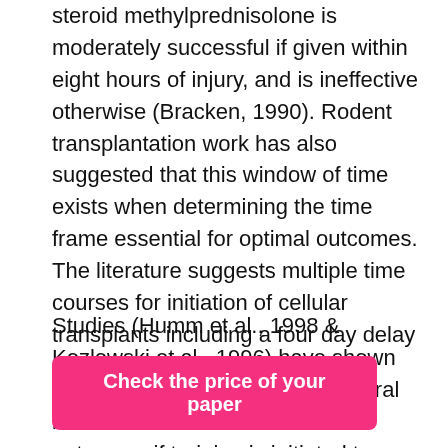steroid methylprednisolone is moderately successful if given within eight hours of injury, and is ineffective otherwise (Bracken, 1990). Rodent transplantation work has also suggested that this window of time exists when determining the time frame essential for optimal outcomes. The literature suggests multiple time courses for initiation of cellular transplants including a four day delay after injury to delays of up to four months.
Studies (Humm et al., 1998 & Kozlowski et al., 1996) have shown that initiating exercise after cerebral ischemia can be detrimental to outcomes if training is initiated too quickly. Humm (1999) suggested that tissue around the lesion is vulnerable to increased excitatory neurotransmitter release for the first seven days after insult. These studies suggest that initiation of exercise should not begin for days after
Check the price of your paper